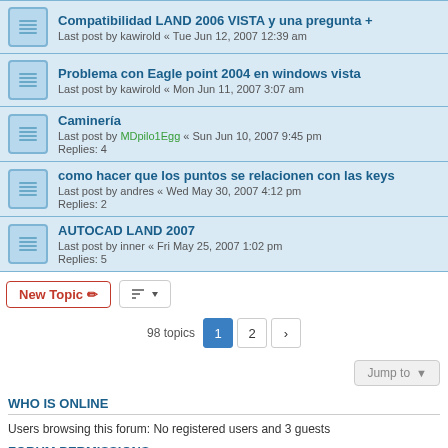Compatibilidad LAND 2006 VISTA y una pregunta + | Last post by kawirold « Tue Jun 12, 2007 12:39 am
Problema con Eagle point 2004 en windows vista | Last post by kawirold « Mon Jun 11, 2007 3:07 am
Caminería | Last post by MDpilo1Egg « Sun Jun 10, 2007 9:45 pm | Replies: 4
como hacer que los puntos se relacionen con las keys | Last post by andres « Wed May 30, 2007 4:12 pm | Replies: 2
AUTOCAD LAND 2007 | Last post by inner « Fri May 25, 2007 1:02 pm | Replies: 5
98 topics · Page 1 2 »
Jump to
WHO IS ONLINE
Users browsing this forum: No registered users and 3 guests
FORUM PERMISSIONS
You cannot post new topics in this forum